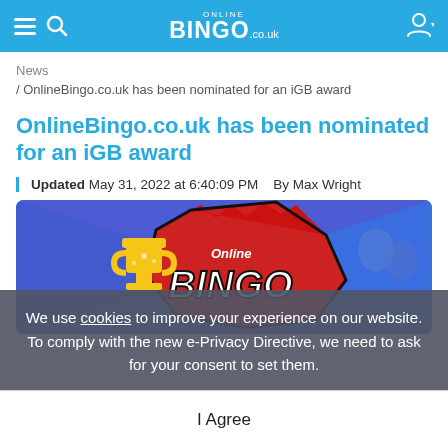Online BINGO .co.uk
News / OnlineBingo.co.uk has been nominated for an iGB award
OnlineBingo.co.uk has been nominated for an iGB award
Updated May 31, 2022 at 6:40:09 PM   By Max Wright
[Figure (photo): Online Bingo promotional banner with trophy and logo on blue/red comic-style background]
We use cookies to improve your experience on our website. To comply with the new e-Privacy Directive, we need to ask for your consent to set them.
I Agree